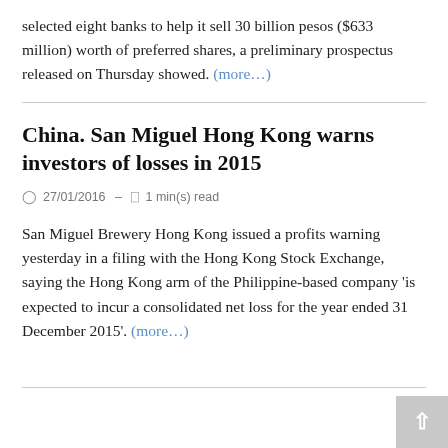selected eight banks to help it sell 30 billion pesos ($633 million) worth of preferred shares, a preliminary prospectus released on Thursday showed. (more…)
China. San Miguel Hong Kong warns investors of losses in 2015
27/01/2016 – 1 min(s) read
San Miguel Brewery Hong Kong issued a profits warning yesterday in a filing with the Hong Kong Stock Exchange, saying the Hong Kong arm of the Philippine-based company 'is expected to incur a consolidated net loss for the year ended 31 December 2015'. (more…)